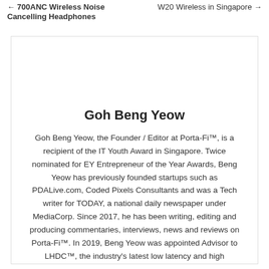← 700ANC Wireless Noise Cancelling Headphones | W20 Wireless in Singapore →
Goh Beng Yeow
Goh Beng Yeow, the Founder / Editor at Porta-Fi™, is a recipient of the IT Youth Award in Singapore. Twice nominated for EY Entrepreneur of the Year Awards, Beng Yeow has previously founded startups such as PDALive.com, Coded Pixels Consultants and was a Tech writer for TODAY, a national daily newspaper under MediaCorp. Since 2017, he has been writing, editing and producing commentaries, interviews, news and reviews on Porta-Fi™. In 2019, Beng Yeow was appointed Advisor to LHDC™, the industry's latest low latency and high